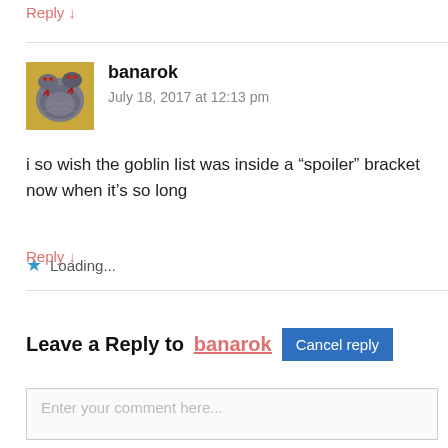Reply ↓
banarok
July 18, 2017 at 12:13 pm
i so wish the goblin list was inside a “spoiler” bracket now when it’s so long
Loading...
Reply ↓
Leave a Reply to banarok   Cancel reply
Enter your comment here...